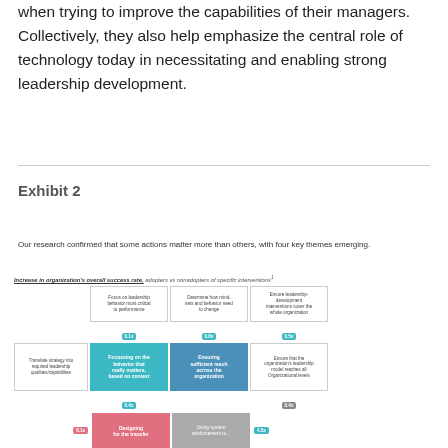when trying to improve the capabilities of their managers. Collectively, they also help emphasize the central role of technology today in necessitating and enabling strong leadership development.
Exhibit 2
Our research confirmed that some actions matter more than others, with four key themes emerging.
[Figure (infographic): A matrix/flowchart showing increase in organization's overall success rate for adopters vs non-adopters of specific interventions. Boxes arranged in rows with teal, blue, pink, and gray colors with numerical badges (0.1x, 0.4x, 0.5x, 0.6x, 4.5x) and labels: Focus on leadership behavior most critical to performance; Determine how mindsets and behavior need to change; Ensure leadership-development interventions cover the whole organization; Translate strategy into required leadership qualities/capabilities; Focussing on the behavior that really matters, based on context; Ensuring sufficient reach across the organization; Ensure that the organization's leadership model reaches all Organizational levels; Designing for the transfer; Using system reinforcement to...]